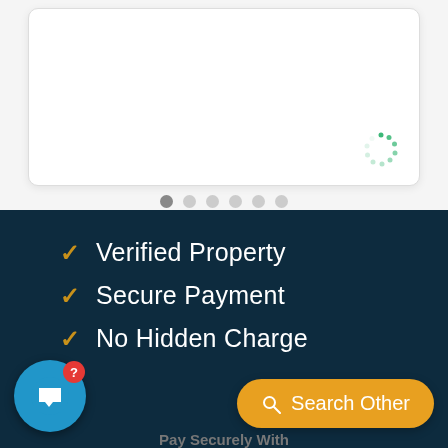[Figure (screenshot): White card area with rounded corners showing a loading spinner (green dotted circle) in the bottom-right corner]
[Figure (other): Pagination indicator with 6 dots, first dot dark/active, rest light gray]
✓ Verified Property
✓ Secure Payment
✓ No Hidden Charge
[Figure (other): Blue circular chat/support bubble button with red notification badge showing question mark]
Search Other
Pay Securely With